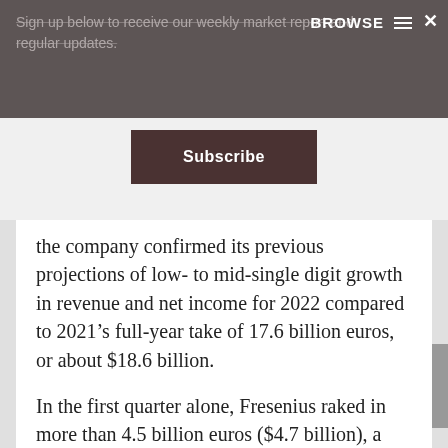Sign up below to receive our weekly market report and regular updates.
Subscribe
the company confirmed its previous projections of low- to mid-single digit growth in revenue and net income for 2022 compared to 2021's full-year take of 17.6 billion euros, or about $18.6 billion.
In the first quarter alone, Fresenius raked in more than 4.5 billion euros ($4.7 billion), a year-over-year increase of 8%. Its net income wasn't as successful,